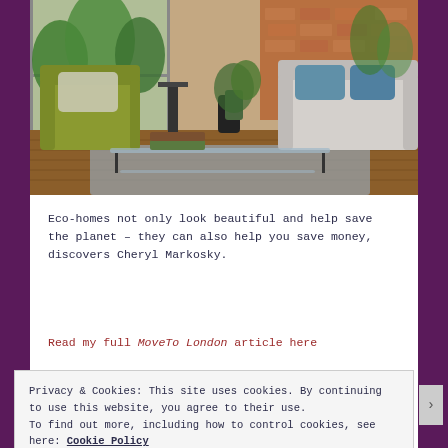[Figure (photo): Interior photo of an eco-friendly living room with green velvet sofa, glass coffee table, potted plants, natural light from large windows, wooden floors, and blue/grey sofa in background]
Eco-homes not only look beautiful and help save the planet – they can also help you save money, discovers Cheryl Markosky.
Read my full MoveTo London article here
Privacy & Cookies: This site uses cookies. By continuing to use this website, you agree to their use. To find out more, including how to control cookies, see here: Cookie Policy